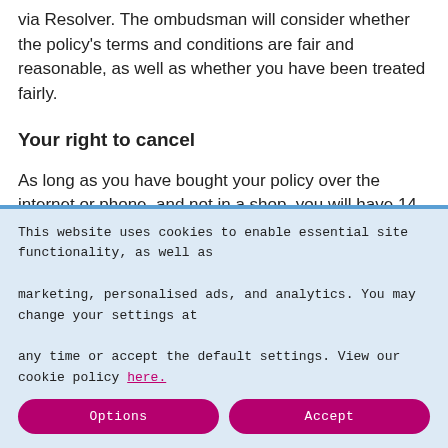via Resolver. The ombudsman will consider whether the policy's terms and conditions are fair and reasonable, as well as whether you have been treated fairly.
Your right to cancel
As long as you have bought your policy over the internet or phone, and not in a shop, you will have 14 days after purchasing it in which you can cancel.  The only exception to this is if you have an immediate need for the service, and you are asked to waive your right to cancel so that you can receive assistance straight away.
This website uses cookies to enable essential site functionality, as well as marketing, personalised ads, and analytics. You may change your settings at any time or accept the default settings. View our cookie policy here.